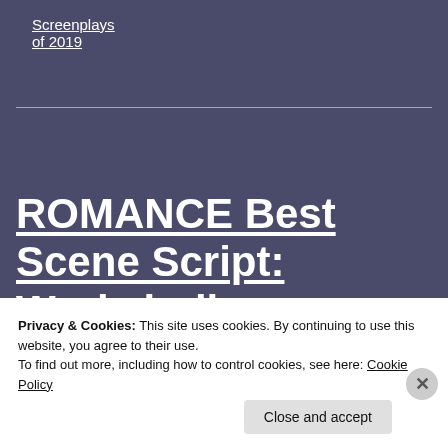Screenplays of 2019
ROMANCE Best Scene Script: Workaholic
Privacy & Cookies: This site uses cookies. By continuing to use this website, you agree to their use.
To find out more, including how to control cookies, see here: Cookie Policy
Close and accept